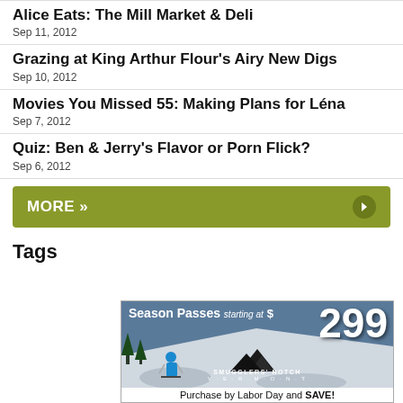Alice Eats: The Mill Market & Deli
Sep 11, 2012
Grazing at King Arthur Flour's Airy New Digs
Sep 10, 2012
Movies You Missed 55: Making Plans for Léna
Sep 7, 2012
Quiz: Ben & Jerry's Flavor or Porn Flick?
Sep 6, 2012
MORE »
Tags
[Figure (photo): Advertisement for Smugglers' Notch Vermont ski resort: Season Passes starting at $299, skier image, mountains logo, 'Purchase by Labor Day and SAVE!']